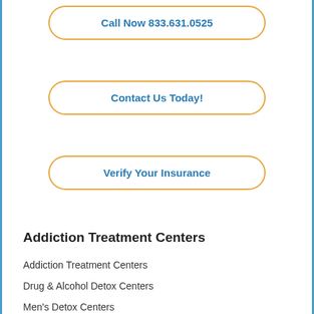Call Now 833.631.0525
Contact Us Today!
Verify Your Insurance
Addiction Treatment Centers
Addiction Treatment Centers
Drug & Alcohol Detox Centers
Men's Detox Centers
Women's Detox Centers